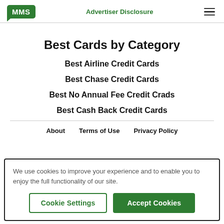MMS | Advertiser Disclosure
Best Cards by Category
Best Airline Credit Cards
Best Chase Credit Cards
Best No Annual Fee Credit Crads
Best Cash Back Credit Cards
About   Terms of Use   Privacy Policy
We use cookies to improve your experience and to enable you to enjoy the full functionality of our site.
Cookie Settings   Accept Cookies